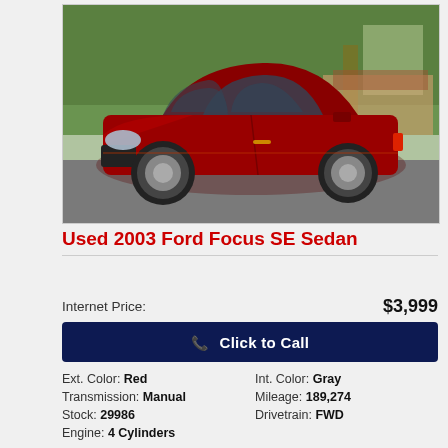[Figure (photo): Red 2003 Ford Focus SE Sedan parked in a driveway, side-front view, with green hedges in the background.]
Used 2003 Ford Focus SE Sedan
Internet Price: $3,999
Click to Call
Ext. Color: Red
Int. Color: Gray
Transmission: Manual
Mileage: 189,274
Stock: 29986
Drivetrain: FWD
Engine: 4 Cylinders